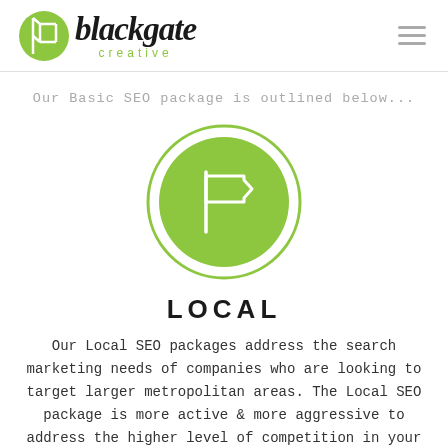[Figure (logo): Blackgate Creative logo with green circle icon and stylized italic text 'blackgate' with 'creative' in green below]
Our Basic SEO package is outlined below...
[Figure (illustration): Green circle with a white flag icon inside, representing local SEO]
LOCAL
Our Local SEO packages address the search marketing needs of companies who are looking to target larger metropolitan areas. The Local SEO package is more active & more aggressive to address the higher level of competition in your